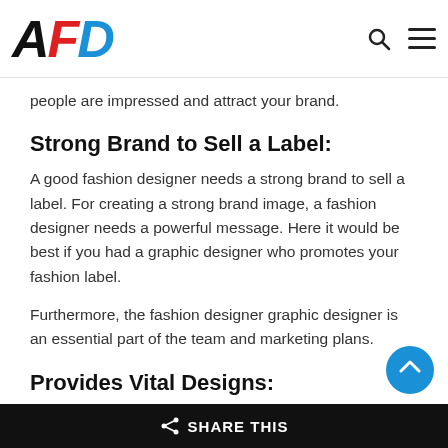AFD
people are impressed and attract your brand.
Strong Brand to Sell a Label:
A good fashion designer needs a strong brand to sell a label. For creating a strong brand image, a fashion designer needs a powerful message. Here it would be best if you had a graphic designer who promotes your fashion label.
Furthermore, the fashion designer graphic designer is an essential part of the team and marketing plans.
Provides Vital Designs:
A professional graphic designer knows that how t
SHARE THIS